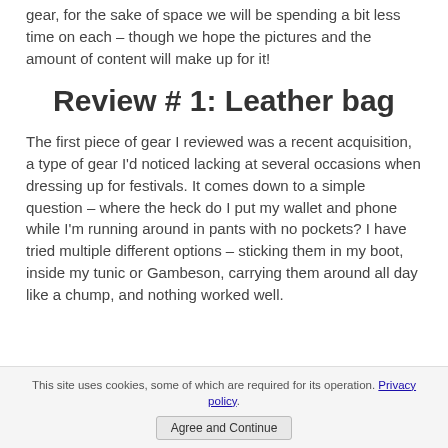gear, for the sake of space we will be spending a bit less time on each – though we hope the pictures and the amount of content will make up for it!
Review # 1: Leather bag
The first piece of gear I reviewed was a recent acquisition, a type of gear I'd noticed lacking at several occasions when dressing up for festivals. It comes down to a simple question – where the heck do I put my wallet and phone while I'm running around in pants with no pockets? I have tried multiple different options – sticking them in my boot, inside my tunic or Gambeson, carrying them around all day like a chump, and nothing worked well.
This site uses cookies, some of which are required for its operation. Privacy policy
Agree and Continue